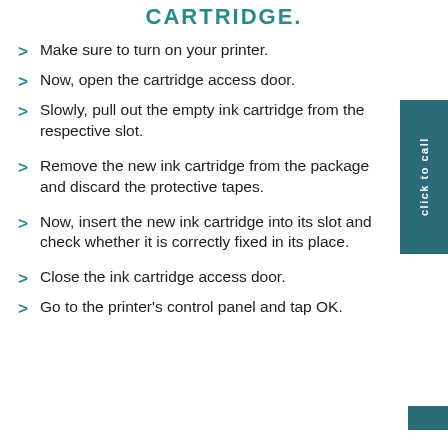CARTRIDGE.
Make sure to turn on your printer.
Now, open the cartridge access door.
Slowly, pull out the empty ink cartridge from the respective slot.
Remove the new ink cartridge from the package and discard the protective tapes.
Now, insert the new ink cartridge into its slot and check whether it is correctly fixed in its place.
Close the ink cartridge access door.
Go to the printer's control panel and tap OK.